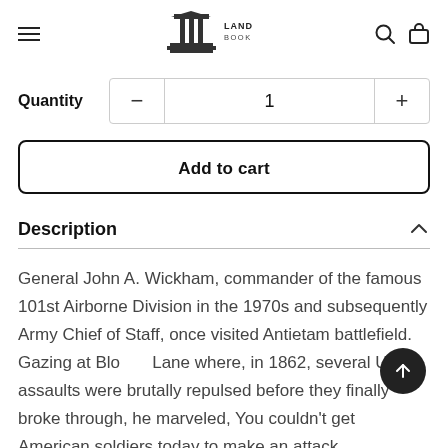Landmark Booksellers
Quantity  −  1  +
Add to cart
Description
General John A. Wickham, commander of the famous 101st Airborne Division in the 1970s and subsequently Army Chief of Staff, once visited Antietam battlefield. Gazing at Bloody Lane where, in 1862, several Union assaults were brutally repulsed before they finally broke through, he marveled, You couldn't get American soldiers today to make an attack